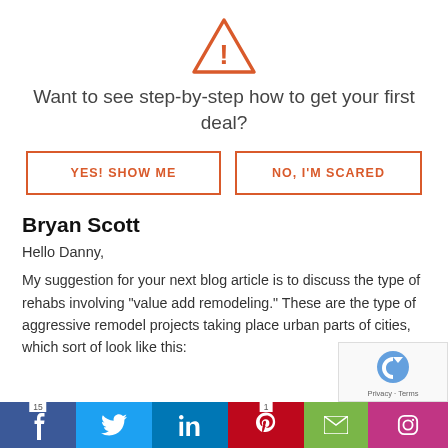[Figure (illustration): Orange warning triangle icon with exclamation mark]
Want to see step-by-step how to get your first deal?
[Figure (other): Two call-to-action buttons: 'YES! SHOW ME' and 'NO, I'M SCARED' with orange borders]
Bryan Scott
Hello Danny,
My suggestion for your next blog article is to discuss the type of rehabs involving "value add remodeling." These are the type of aggressive remodel projects taking place urban parts of cities, which sort of look like this:
[Figure (other): Social share bar at bottom with Facebook (15), Twitter, LinkedIn, Pinterest (1), Email, Instagram icons]